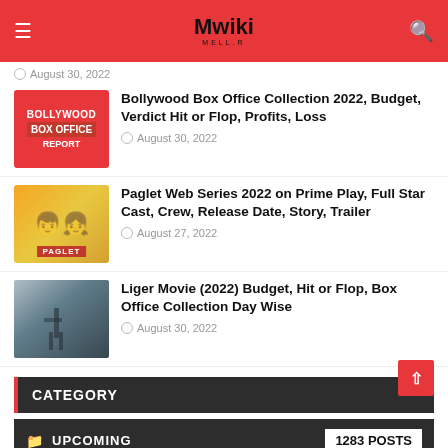Mwiki
August 30, 2022
Bollywood Box Office Collection 2022, Budget, Verdict Hit or Flop, Profits, Loss
August 30, 2022
Paglet Web Series 2022 on Prime Play, Full Star Cast, Crew, Release Date, Story, Trailer
August 27, 2022
Liger Movie (2022) Budget, Hit or Flop, Box Office Collection Day Wise
August 30, 2022
CATEGORY
UPCOMING 1283 POSTS